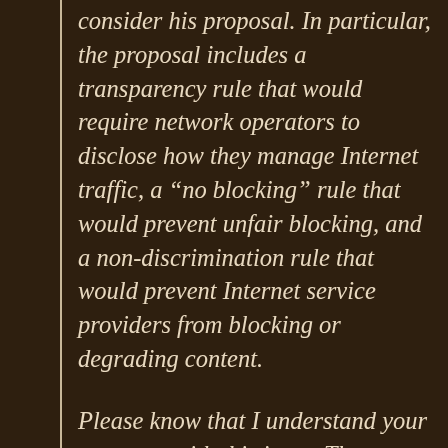consider his proposal. In particular, the proposal includes a transparency rule that would require network operators to disclose how they manage Internet traffic, a “no blocking” rule that would prevent unfair blocking, and a non-discrimination rule that would prevent Internet service providers from blocking or degrading content.
Please know that I understand your concerns with this issue. The Internet is a vital tool for commerce and communications in modern society, and like you, I do not want to see Internet access become any less competitive or open. The ref